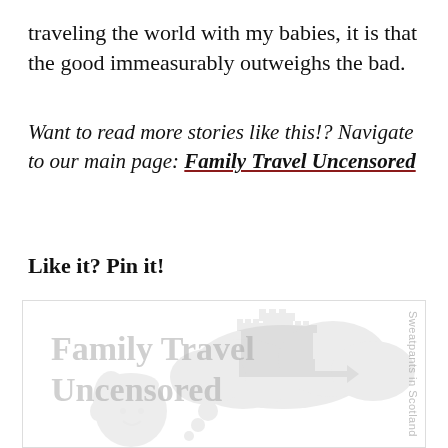traveling the world with my babies, it is that the good immeasurably outweighs the bad.
Want to read more stories like this!? Navigate to our main page: Family Travel Uncensored
Like it? Pin it!
[Figure (illustration): Watermark-style illustration with 'Family Travel Uncensored' text and a cartoon girl dreaming of a castle, with vertical side text 'Sweatpants in Scotland']